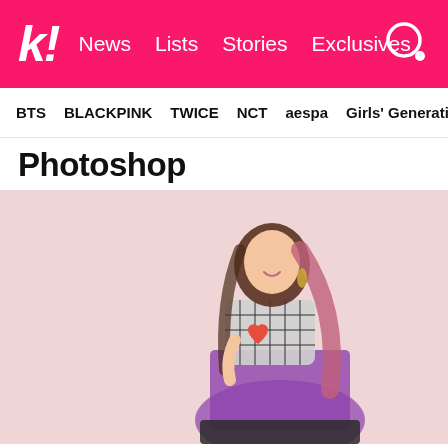k! News Lists Stories Exclusives
BTS BLACKPINK TWICE NCT aespa Girls' Generation
Photoshop
[Figure (photo): A young woman with long dark hair with pink highlights, wearing a black and white checkered top and a purple satin skirt with black trim, holding a red heart, posing against a light pink background, looking back over her shoulder and smiling.]